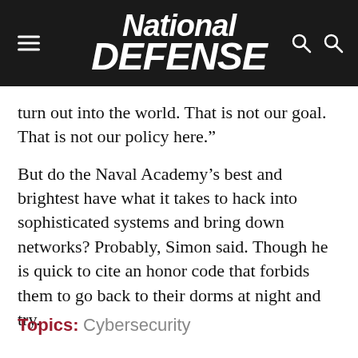National Defense
turn out into the world. That is not our goal. That is not our policy here.”
But do the Naval Academy’s best and brightest have what it takes to hack into sophisticated systems and bring down networks? Probably, Simon said. Though he is quick to cite an honor code that forbids them to go back to their dorms at night and try.
Topics: Cybersecurity